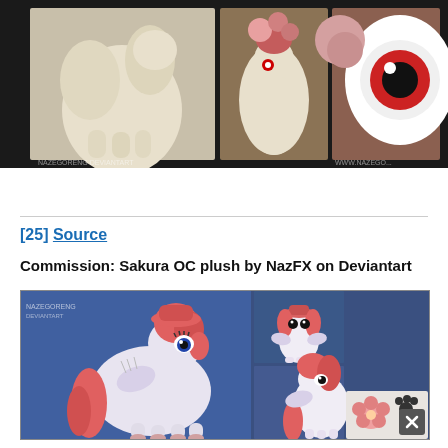[Figure (photo): Strip of three photos showing a plush pony figurine (white body) from different angles with flowers in background, on dark background. Watermark text visible: NAZEGORENG, WWW.NAZEGO...]
[25] Source
Commission: Sakura OC plush by NazFX on Deviantart
[Figure (photo): Collage of photos showing a custom My Little Pony plush with pink/red hair and wings (Sakura OC), shown from multiple angles. NAZEGORENG watermark. Includes a small inset of a flower and paw print design. Close button visible at bottom right.]